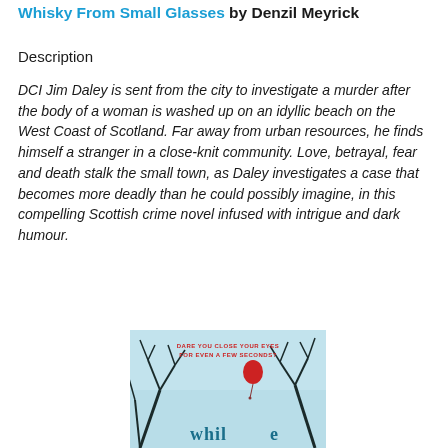Whisky From Small Glasses by Denzil Meyrick
Description
DCI Jim Daley is sent from the city to investigate a murder after the body of a woman is washed up on an idyllic beach on the West Coast of Scotland. Far away from urban resources, he finds himself a stranger in a close-knit community. Love, betrayal, fear and death stalk the small town, as Daley investigates a case that becomes more deadly than he could possibly imagine, in this compelling Scottish crime novel infused with intrigue and dark humour.
[Figure (illustration): Book cover image showing bare dark tree branches against a pale blue sky, a red balloon floating upward, with text 'DARE YOU CLOSE YOUR EYES FOR EVEN A FEW SECONDS?' and partial title text 'whil...' at the bottom]